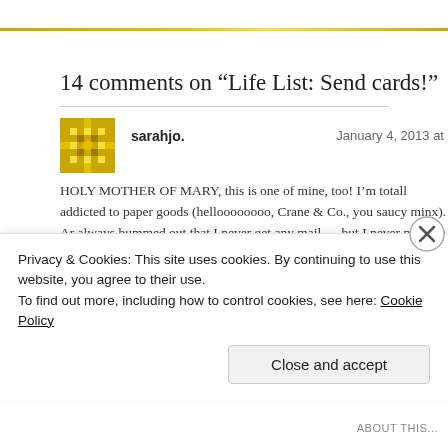14 comments on “Life List: Send cards!”
sarahjo. January 4, 2013 at
HOLY MOTHER OF MARY, this is one of mine, too! I’m totally addicted to paper goods (helloooooooo, Crane & Co., you saucy minx). An always bummed out that I never get any mail … but I never manage to send mail, and so my ennui is totes hypocritical. And I can’t do any of it on time staring down the barrel of my 6-month wedding anniversary, and we’re still done with the thank-yous. And please don’t ask about Christmas and birthd because I’ve basically given up.) So I’ve resolved to get better! (Whic
Privacy & Cookies: This site uses cookies. By continuing to use this website, you agree to their use.
To find out more, including how to control cookies, see here: Cookie Policy
Close and accept